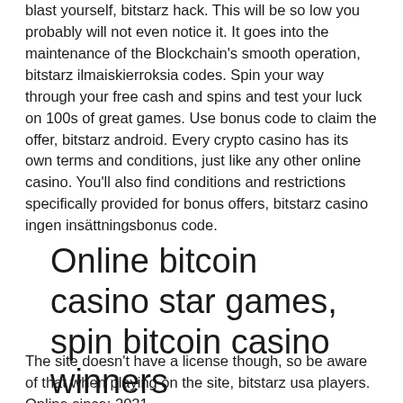blast yourself, bitstarz hack. This will be so low you probably will not even notice it. It goes into the maintenance of the Blockchain's smooth operation, bitstarz ilmaiskierroksia codes. Spin your way through your free cash and spins and test your luck on 100s of great games. Use bonus code to claim the offer, bitstarz android. Every crypto casino has its own terms and conditions, just like any other online casino. You'll also find conditions and restrictions specifically provided for bonus offers, bitstarz casino ingen insättningsbonus code.
Online bitcoin casino star games, spin bitcoin casino winners
The site doesn't have a license though, so be aware of that when playing on the site, bitstarz usa players. Online since: 2021